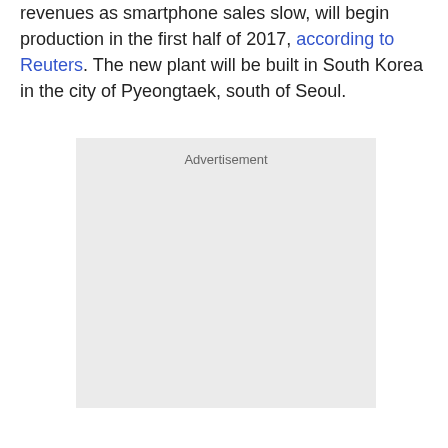revenues as smartphone sales slow, will begin production in the first half of 2017, according to Reuters. The new plant will be built in South Korea in the city of Pyeongtaek, south of Seoul.
[Figure (other): Advertisement placeholder box with light gray background and 'Advertisement' label at top center]